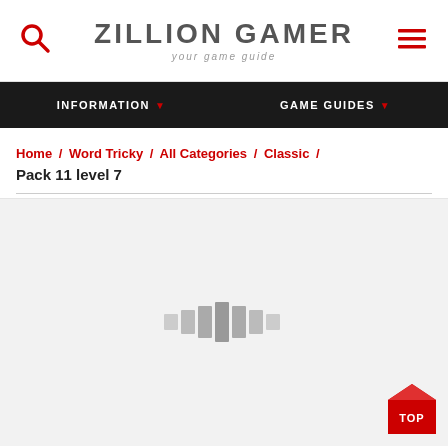ZILLION GAMER — your game guide
INFORMATION ▼   GAME GUIDES ▼
Home / Word Tricky / All Categories / Classic / Pack 11 level 7
[Figure (other): Loading spinner / content placeholder graphic with light gray bar elements]
[Figure (other): Red TOP button in bottom right corner, house/arrow shape at top]